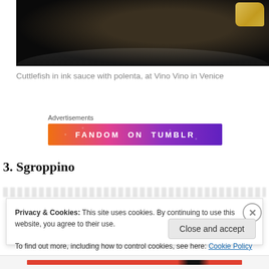[Figure (photo): Close-up photo of cuttlefish in black ink sauce on a white plate with a piece of polenta on the side, at Vino Vino in Venice]
Cuttlefish in ink sauce with polenta, at Vino Vino in Venice
Advertisements
[Figure (photo): FANDOM ON tumblr advertisement banner with colorful gradient background and decorative icons]
3. Sgroppino
Privacy & Cookies: This site uses cookies. By continuing to use this website, you agree to their use.
To find out more, including how to control cookies, see here: Cookie Policy
Close and accept